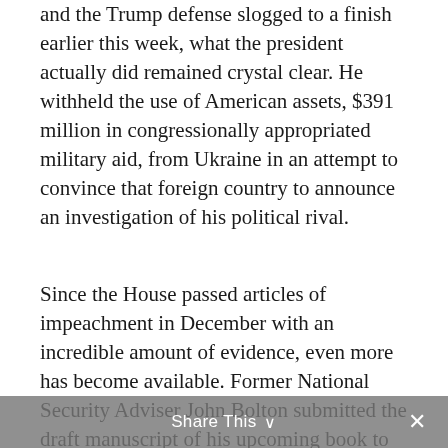and the Trump defense slogged to a finish earlier this week, what the president actually did remained crystal clear. He withheld the use of American assets, $391 million in congressionally appropriated military aid, from Ukraine in an attempt to convince that foreign country to announce an investigation of his political rival.
Since the House passed articles of impeachment in December with an incredible amount of evidence, even more has become available. Former National Security Adviser John Bolton submitted the draft manuscript of his upcoming book to the National Security Council for a security review in late December. In it, Bolton writes of direct conversations he had with the president regarding the withheld Ukraine